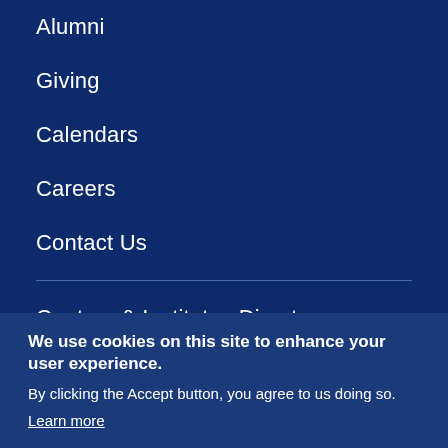Alumni
Giving
Calendars
Careers
Contact Us
Centers & Institutes Directory
MyJHSPH
We use cookies on this site to enhance your user experience. By clicking the Accept button, you agree to us doing so. Learn more